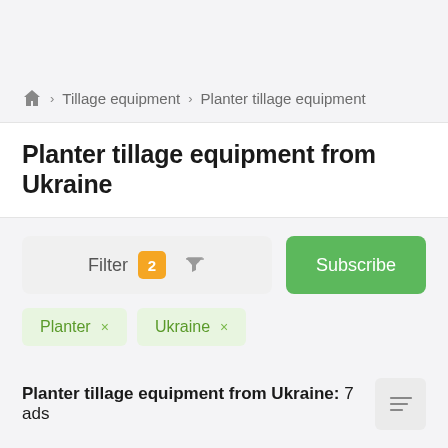Home > Tillage equipment > Planter tillage equipment
Planter tillage equipment from Ukraine
Filter 2 (filter badge) [funnel icon] | Subscribe
Planter ×
Ukraine ×
Planter tillage equipment from Ukraine: 7 ads